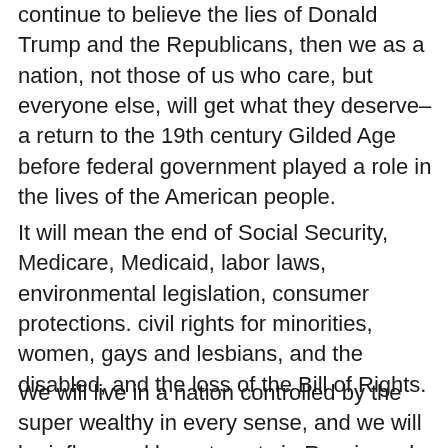continue to believe the lies of Donald Trump and the Republicans, then we as a nation, not those of us who care, but everyone else, will get what they deserve–a return to the 19th century Gilded Age before federal government played a role in the lives of the American people.
It will mean the end of Social Security, Medicare, Medicaid, labor laws, environmental legislation, consumer protections. civil rights for minorities, women, gays and lesbians, and the disabled, and the loss of the Bill of Rights.
We will live in a nation controlled by the super wealthy in every sense, and we will be influenced by autocrats in Russia and other totalitarian dictatorships, and we will be threatened by the loss of our traditional foreign allies, and we will face dire poverty after a Great Depression that